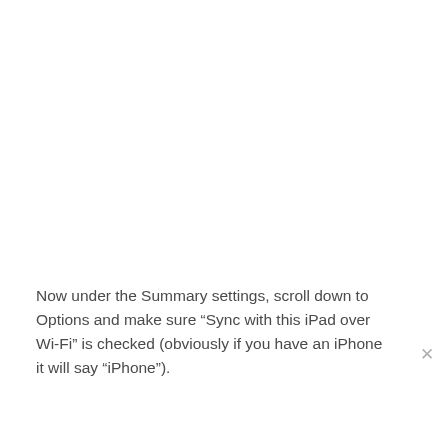Now under the Summary settings, scroll down to Options and make sure “Sync with this iPad over Wi-Fi” is checked (obviously if you have an iPhone it will say “iPhone”).